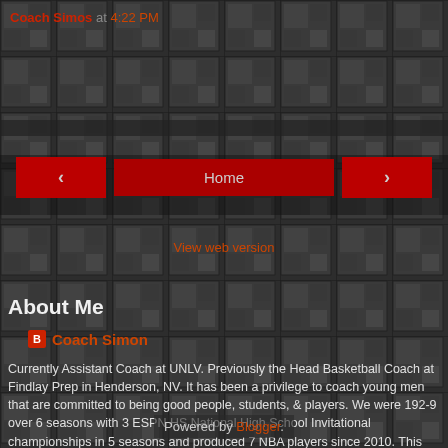Coach Simos at 4:22 PM
Home
View web version
About Me
Coach Simon
Currently Assistant Coach at UNLV. Previously the Head Basketball Coach at Findlay Prep in Henderson, NV. It has been a privilege to coach young men that are committed to being good people, students, & players. We were 192-9 over 6 seasons with 3 ESPN HS National High School Invitational championships in 5 seasons and produced 7 NBA players since 2010. This site is a collection of articles, studies I have done, book reviews, and quotes I have collected over time.
View my complete profile
Powered by Blogger.